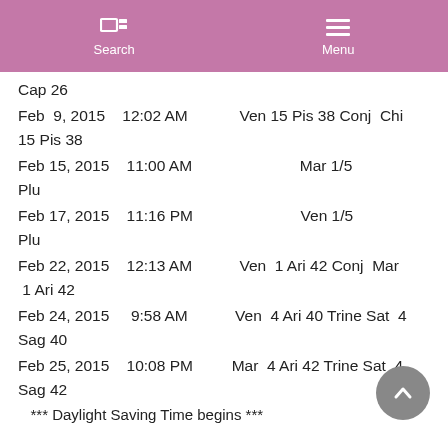Search  Menu
Cap 26
Feb  9, 2015    12:02 AM                Ven 15 Pis 38 Conj  Chi 15 Pis 38
Feb 15, 2015    11:00 AM                                    Mar 1/5 Plu
Feb 17, 2015    11:16 PM                                    Ven 1/5 Plu
Feb 22, 2015    12:13 AM                Ven  1 Ari 42 Conj  Mar  1 Ari 42
Feb 24, 2015     9:58 AM                Ven  4 Ari 40 Trine Sat  4 Sag 40
Feb 25, 2015    10:08 PM                Mar  4 Ari 42 Trine Sat  4 Sag 42
*** Daylight Saving Time begins ***